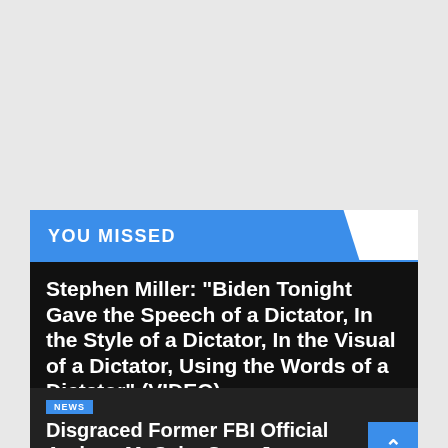YOU MISSED
Stephen Miller: "Biden Tonight Gave the Speech of a Dictator, In the Style of a Dictator, In the Visual of a Dictator, Using the Words of a Dictator" (VIDEO)
SEP 1, 2022   JIM HOFT
NEWS
Disgraced Former FBI Official Andrew McCabe Says Joe